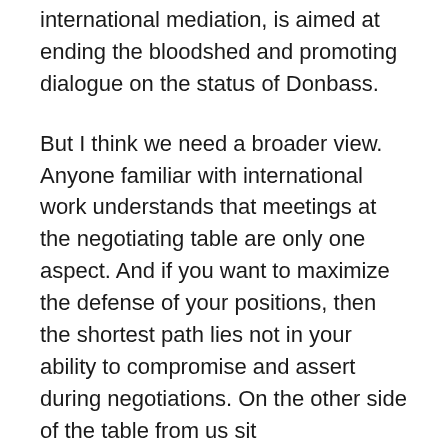international mediation, is aimed at ending the bloodshed and promoting dialogue on the status of Donbass.
But I think we need a broader view. Anyone familiar with international work understands that meetings at the negotiating table are only one aspect. And if you want to maximize the defense of your positions, then the shortest path lies not in your ability to compromise and assert during negotiations. On the other side of the table from us sit representatives of states, in which there are hundreds of complicated political processes, the final result of which is the position of the official representatives at the meetings. And when these positions have already been shaped and approved in European capitals — to do something about it, to somehow change it to